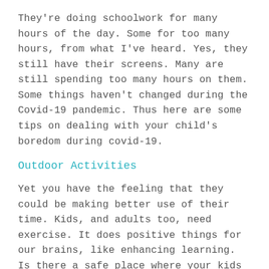They're doing schoolwork for many hours of the day. Some for too many hours, from what I've heard. Yes, they still have their screens. Many are still spending too many hours on them. Some things haven't changed during the Covid-19 pandemic. Thus here are some tips on dealing with your child's boredom during covid-19.
Outdoor Activities
Yet you have the feeling that they could be making better use of their time. Kids, and adults too, need exercise. It does positive things for our brains, like enhancing learning. Is there a safe place where your kids can play outside? When is the last time you had a catch with your child, passed a football back and forth, or shot some hoops together? You could start a garden together if you have the space